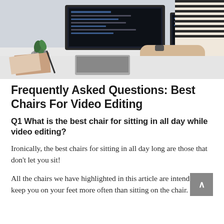[Figure (photo): Person in striped shirt working at a desk with a monitor, laptop, tablet, and small potted plant on a white desk surface.]
Frequently Asked Questions: Best Chairs For Video Editing
Q1 What is the best chair for sitting in all day while video editing?
Ironically, the best chairs for sitting in all day long are those that don't let you sit!
All the chairs we have highlighted in this article are intended to keep you on your feet more often than sitting on the chair.